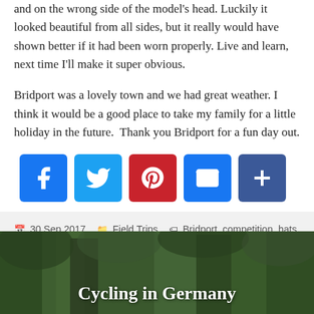and on the wrong side of the model's head. Luckily it looked beautiful from all sides, but it really would have shown better if it had been worn properly. Live and learn, next time I'll make it super obvious.
Bridport was a lovely town and we had great weather. I think it would be a good place to take my family for a little holiday in the future.  Thank you Bridport for a fun day out.
[Figure (other): Social media sharing buttons: Facebook, Twitter, Pinterest, Email, More/Share]
30 Sep 2017   Field Trips   Bridport, competition, hats, sinamay, straw   Leave a comment
[Figure (photo): Photo of trees/forest with overlay text 'Cycling in Germany']